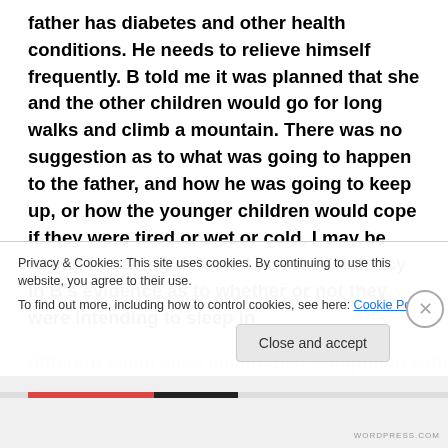father has diabetes and other health conditions. He needs to relieve himself frequently. B told me it was planned that she and the other children would go for long walks and climb a mountain. There was no suggestion as to what was going to happen to the father, and how he was going to keep up, or how the younger children would cope if they were tired or wet or cold. I may be wrong in having detected an inconsistency in B's evidence as to whether or not they were intending to sleep in different camp sites taking their equipment with
Privacy & Cookies: This site uses cookies. By continuing to use this website, you agree to their use. To find out more, including how to control cookies, see here: Cookie Policy